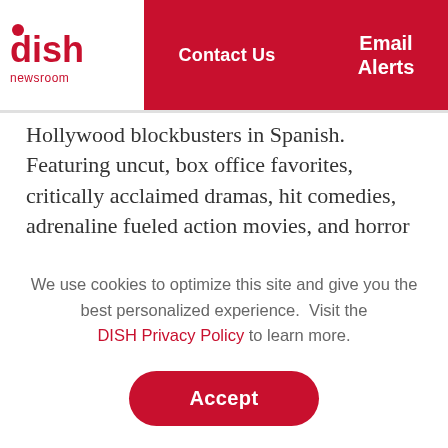DISH Newsroom | Contact Us | Email Alerts
Hollywood blockbusters in Spanish. Featuring uncut, box office favorites, critically acclaimed dramas, hit comedies, adrenaline fueled action movies, and horror favorites. Cine Sony Television is the premier movie channel for the U.S. Latino audience. The network also offers on-demand content and an authenticated watch app CINE SONY YA
We use cookies to optimize this site and give you the best personalized experience.  Visit the DISH Privacy Policy to learn more.
Accept